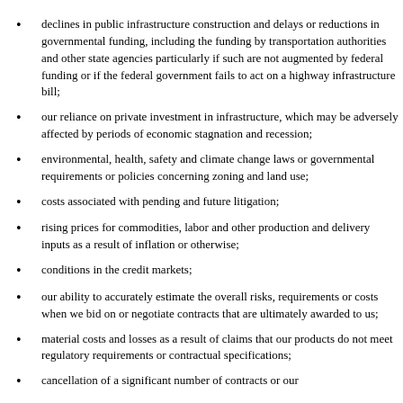declines in public infrastructure construction and delays or reductions in governmental funding, including the funding by transportation authorities and other state agencies particularly if such are not augmented by federal funding or if the federal government fails to act on a highway infrastructure bill;
our reliance on private investment in infrastructure, which may be adversely affected by periods of economic stagnation and recession;
environmental, health, safety and climate change laws or governmental requirements or policies concerning zoning and land use;
costs associated with pending and future litigation;
rising prices for commodities, labor and other production and delivery inputs as a result of inflation or otherwise;
conditions in the credit markets;
our ability to accurately estimate the overall risks, requirements or costs when we bid on or negotiate contracts that are ultimately awarded to us;
material costs and losses as a result of claims that our products do not meet regulatory requirements or contractual specifications;
cancellation of a significant number of contracts or our